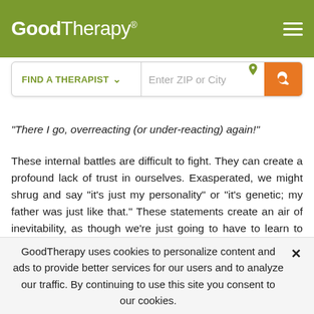GoodTherapy®
“There I go, overreacting (or under-reacting) again!”
These internal battles are difficult to fight. They can create a profound lack of trust in ourselves. Exasperated, we might shrug and say “it’s just my personality” or “it’s genetic; my father was just like that.” These statements create an air of inevitability, as though we’re just going to have to learn to live with this aspect of ourselves. I’ve noticed “genetics” is a favorite fallback for when we don’t understand the threat response cycle, or the formerly adaptive learning that now
GoodTherapy uses cookies to personalize content and ads to provide better services for our users and to analyze our traffic. By continuing to use this site you consent to our cookies.